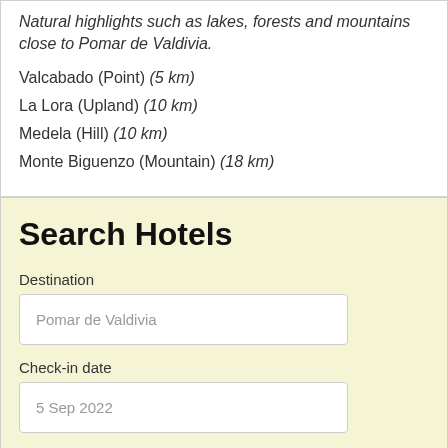Natural highlights such as lakes, forests and mountains close to Pomar de Valdivia.
Valcabado (Point) (5 km)
La Lora (Upland) (10 km)
Medela (Hill) (10 km)
Monte Biguenzo (Mountain) (18 km)
Search Hotels
Destination
Pomar de Valdivia
Check-in date
5 Sep 2022